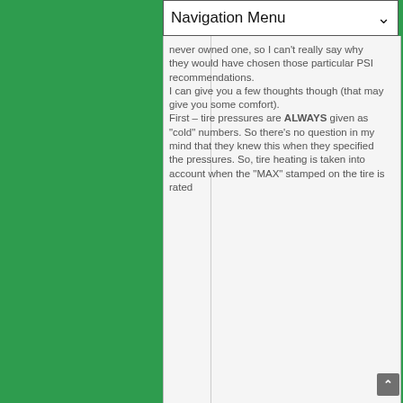Navigation Menu
never owned one, so I can't really say why they would have chosen those particular PSI recommendations. I can give you a few thoughts though (that may give you some comfort). First – tire pressures are ALWAYS given as "cold" numbers. So there's no question in my mind that they knew this when they specified the pressures. So, tire heating is taken into account when the "MAX" stamped on the tire is rated